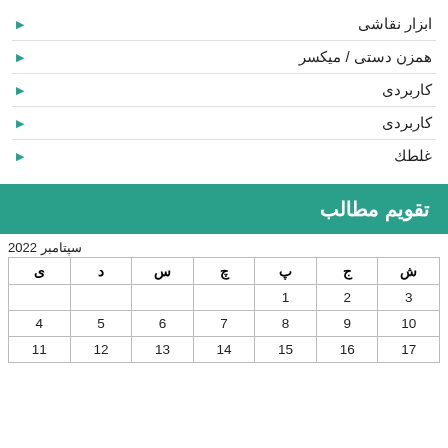ابزار نقاشی
همزن دستی / میکسر
کاربردی
کاربردی
غلطك
تقویم مطالب
سپتامبر 2022
| ش | ج | پ | چ | س | د | ی |
| --- | --- | --- | --- | --- | --- | --- |
| 3 | 2 | 1 |  |  |  |  |
| 10 | 9 | 8 | 7 | 6 | 5 | 4 |
| 17 | 16 | 15 | 14 | 13 | 12 | 11 |